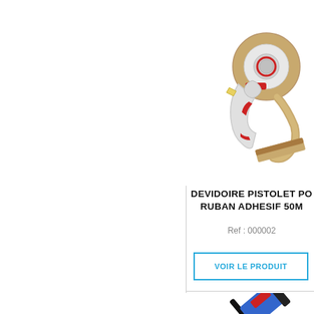[Figure (photo): Tape dispenser gun / pistolet dévidoire with brown adhesive tape roll, shown at an angle on white background]
DEVIDOIRE PISTOLET PO RUBAN ADHESIF 50M
Ref : 000002
VOIR LE PRODUIT
[Figure (photo): Marker pen / feutre shown at bottom of page, partially visible]